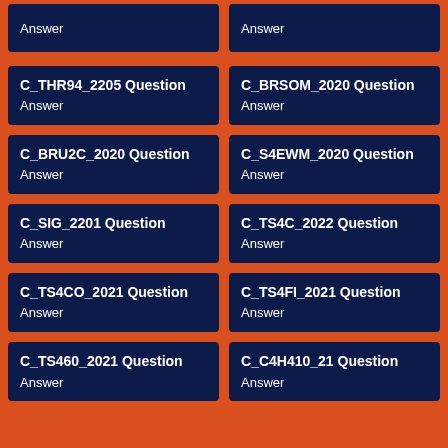Answer
Answer
C_THR94_2205 Question
Answer
C_BRSOM_2020 Question
Answer
C_BRU2C_2020 Question
Answer
C_S4EWM_2020 Question
Answer
C_SIG_2201 Question
Answer
C_TS4C_2022 Question
Answer
C_TS4CO_2021 Question
Answer
C_TS4FI_2021 Question
Answer
C_TS460_2021 Question
Answer
C_C4H410_21 Question
Answer